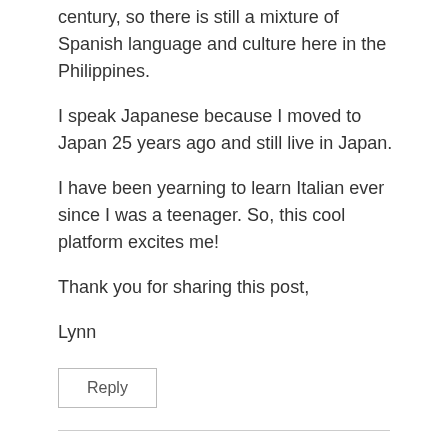century, so there is still a mixture of Spanish language and culture here in the Philippines.
I speak Japanese because I moved to Japan 25 years ago and still live in Japan.
I have been yearning to learn Italian ever since I was a teenager. So, this cool platform excites me!
Thank you for sharing this post,
Lynn
Reply
Henry says: